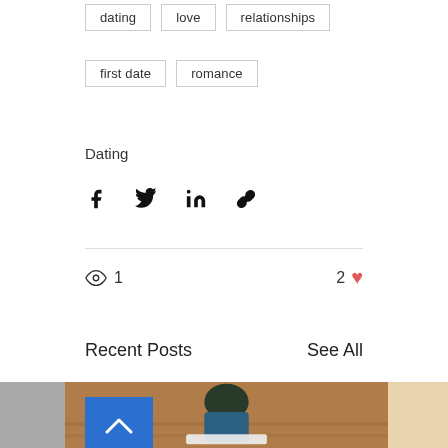dating
love
relationships
first date
romance
Dating
[Figure (infographic): Social share icons: Facebook, Twitter, LinkedIn, link/chain icon]
1 views, 2 likes
Recent Posts
See All
[Figure (photo): A person in a floral top and jeans sitting on a wooden floor looking at papers. Left side partially cropped gray image. Right side partially cropped beige/tan image. Blue back-to-top button with chevron up arrow overlaid on left portion.]